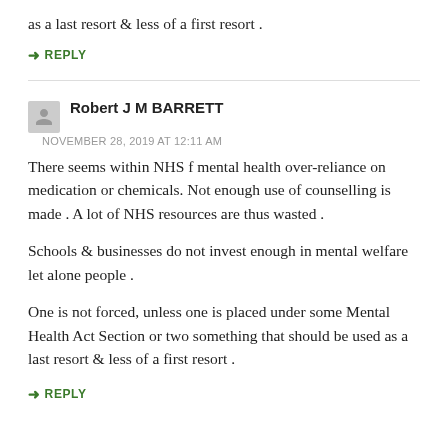as a last resort & less of a first resort .
↪ REPLY
Robert J M BARRETT
NOVEMBER 28, 2019 AT 12:11 AM
There seems within NHS f mental health over-reliance on medication or chemicals. Not enough use of counselling is made . A lot of NHS resources are thus wasted .
Schools & businesses do not invest enough in mental welfare let alone people .
One is not forced, unless one is placed under some Mental Health Act Section or two something that should be used as a last resort & less of a first resort .
↪ REPLY